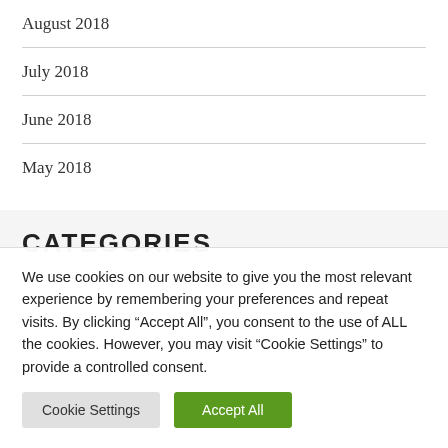August 2018
July 2018
June 2018
May 2018
CATEGORIES
We use cookies on our website to give you the most relevant experience by remembering your preferences and repeat visits. By clicking “Accept All”, you consent to the use of ALL the cookies. However, you may visit “Cookie Settings” to provide a controlled consent.